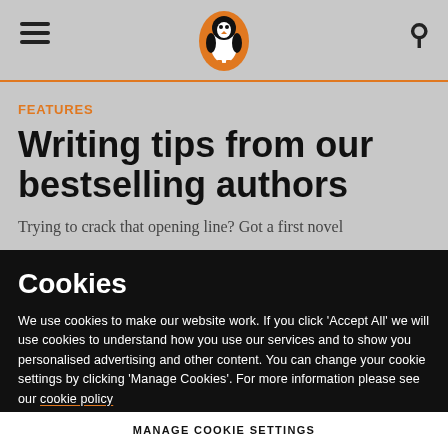[Figure (logo): Penguin Books logo - orange penguin in oval]
Navigation header with hamburger menu, Penguin logo, and search icon
Features
Writing tips from our bestselling authors
Trying to crack that opening line? Got a first novel
Cookies
We use cookies to make our website work. If you click 'Accept All' we will use cookies to understand how you use our services and to show you personalised advertising and other content. You can change your cookie settings by clicking 'Manage Cookies'. For more information please see our cookie policy
MANAGE COOKIE SETTINGS